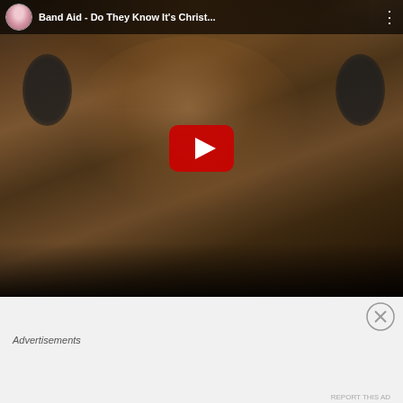[Figure (screenshot): YouTube video embed showing Band Aid - Do They Know It's Christ... with a play button overlay. The thumbnail shows a person with headphones and eyes closed. YouTube top bar shows channel avatar, video title, and options dots.]
Advertisements
[Figure (screenshot): WordPress advertisement banner with gradient background (teal to yellow). Text reads 'Create immersive stories.' with 'GET THE APP' button and WordPress logo.]